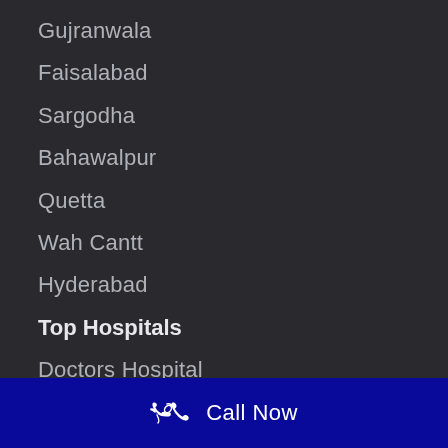Gujranwala
Faisalabad
Sargodha
Bahawalpur
Quetta
Wah Cantt
Hyderabad
Top Hospitals
Doctors Hospital
Hameed Latif Hospital
Call Now